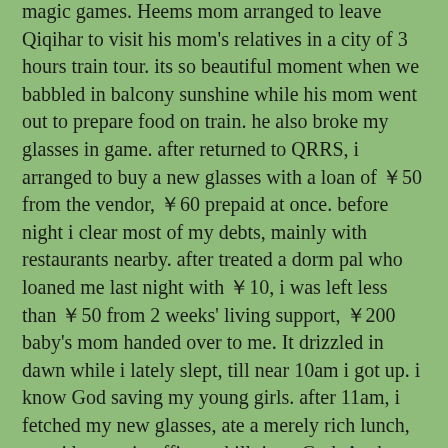magic games. Heems mom arranged to leave Qiqihar to visit his mom's relatives in a city of 3 hours train tour. its so beautiful moment when we babbled in balcony sunshine while his mom went out to prepare food on train. he also broke my glasses in game. after returned to QRRS, i arranged to buy a new glasses with a loan of ￥50 from the vendor, ￥60 prepaid at once. before night i clear most of my debts, mainly with restaurants nearby. after treated a dorm pal who loaned me last night with ￥10, i was left less than ￥50 from 2 weeks' living support, ￥200 baby's mom handed over to me. It drizzled in dawn while i lately slept, till near 10am i got up. i know God saving my young girls. after 11am, i fetched my new glasses, ate a merely rich lunch, now i be seat in office to kill time. God, Asoh Yukiko, bring my girl zhou to me, write out my bills&let me act in freedom. i love ur drizzle so much, bring peace&away from wanting to my heart.
30/9/2010
dreamed of my passed dad, God.^yesterday can be an hour prolonged. i waited d/l till 6:30pm left office. dined in debt nearby, where the chef, a demon dirtily challenged me for several times. roamed in dorm all night, reviewing mafia led by sins in office restlessly attempting earning from me by bloodiness. this